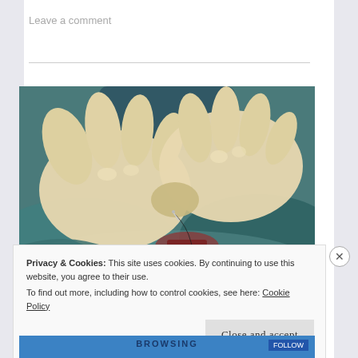Leave a comment
[Figure (photo): Close-up photograph of gloved surgeon's hands performing suturing/stitching on a wound, with teal/blue surgical draping visible in the background and a needle and suture thread visible.]
Privacy & Cookies: This site uses cookies. By continuing to use this website, you agree to their use.
To find out more, including how to control cookies, see here: Cookie Policy
Close and accept